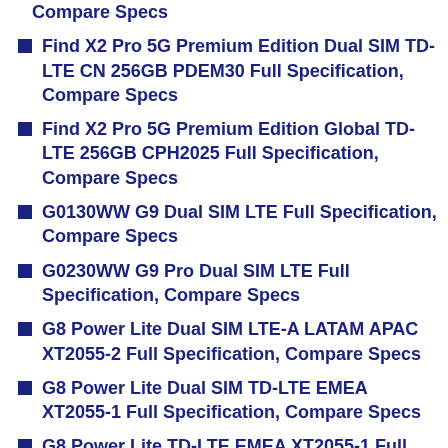Compare Specs
Find X2 Pro 5G Premium Edition Dual SIM TD-LTE CN 256GB PDEM30 Full Specification, Compare Specs
Find X2 Pro 5G Premium Edition Global TD-LTE 256GB CPH2025 Full Specification, Compare Specs
G0130WW G9 Dual SIM LTE Full Specification, Compare Specs
G0230WW G9 Pro Dual SIM LTE Full Specification, Compare Specs
G8 Power Lite Dual SIM LTE-A LATAM APAC XT2055-2 Full Specification, Compare Specs
G8 Power Lite Dual SIM TD-LTE EMEA XT2055-1 Full Specification, Compare Specs
G8 Power Lite TD-LTE EMEA XT2055-1 Full Specification, Compare Specs
G8W Flip TD-LTE JP 00AA 3 Full Specification, Compare Specs (partial)